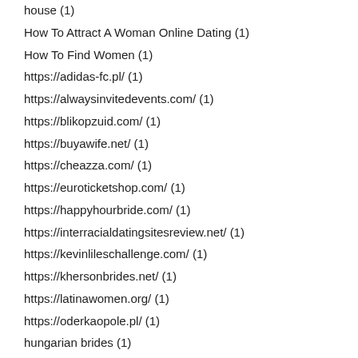house (1)
How To Attract A Woman Online Dating (1)
How To Find Women (1)
https://adidas-fc.pl/ (1)
https://alwaysinvitedevents.com/ (1)
https://blikopzuid.com/ (1)
https://buyawife.net/ (1)
https://cheazza.com/ (1)
https://euroticketshop.com/ (1)
https://happyhourbride.com/ (1)
https://interracialdatingsitesreview.net/ (1)
https://kevinlileschallenge.com/ (1)
https://khersonbrides.net/ (1)
https://latinawomen.org/ (1)
https://oderkaopole.pl/ (1)
hungarian brides (1)